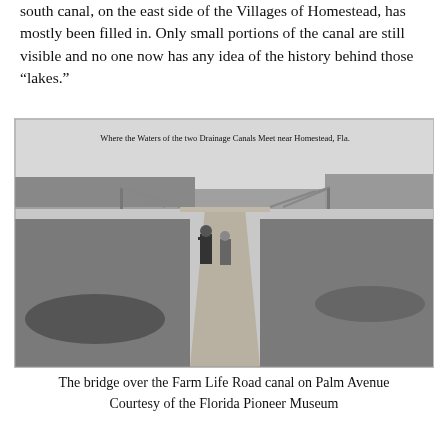south canal, on the east side of the Villages of Homestead, has mostly been filled in. Only small portions of the canal are still visible and no one now has any idea of the history behind those “lakes.”
[Figure (photo): Black and white historical photograph showing two men standing on a dirt road between two drainage canals near Homestead, Florida. A bridge structure is visible in the background. Caption inside the photo reads: 'Where the Waters of the two Drainage Canals Meet near Homestead, Fla.']
The bridge over the Farm Life Road canal on Palm Avenue
Courtesy of the Florida Pioneer Museum